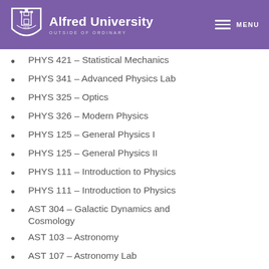Alfred University — Outside of Ordinary
PHYS 421 – Statistical Mechanics
PHYS 341 – Advanced Physics Lab
PHYS 325 – Optics
PHYS 326 – Modern Physics
PHYS 125 – General Physics I
PHYS 125 – General Physics II
PHYS 111 – Introduction to Physics
PHYS 111 – Introduction to Physics
AST 304 – Galactic Dynamics and Cosmology
AST 103 – Astronomy
AST 107 – Astronomy Lab
SCI 110 – Weather Elements